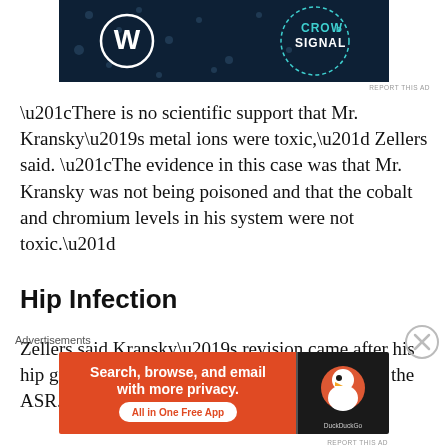[Figure (other): WordPress and Crowdsignal advertisement banner with dark navy background, WordPress logo on left and Crowdsignal logo on right with dotted circle border]
“There is no scientific support that Mr. Kransky’s metal ions were toxic,” Zellers said. “The evidence in this case was that Mr. Kransky was not being poisoned and that the cobalt and chromium levels in his system were not toxic.”
Hip Infection
Zellers said Kransky’s revision came after his hip grew infected, not because of problems with the ASR.
Advertisements
[Figure (other): DuckDuckGo advertisement: orange left panel with text 'Search, browse, and email with more privacy. All in One Free App', dark right panel with DuckDuckGo logo]